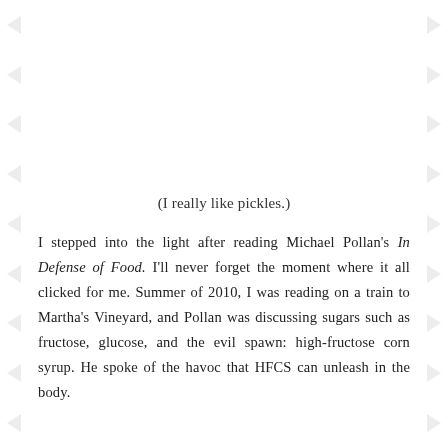(I really like pickles.)
I stepped into the light after reading Michael Pollan's In Defense of Food. I'll never forget the moment where it all clicked for me. Summer of 2010, I was reading on a train to Martha's Vineyard, and Pollan was discussing sugars such as fructose, glucose, and the evil spawn: high-fructose corn syrup. He spoke of the havoc that HFCS can unleash in the body.